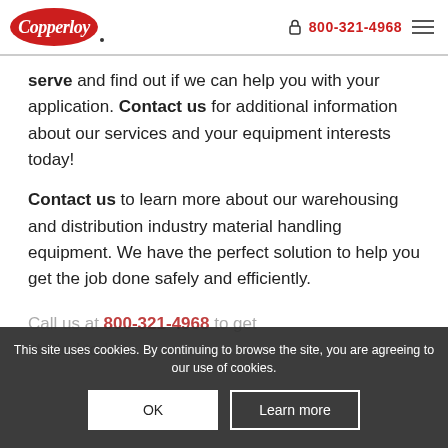Copperloy | 800-321-4968
serve and find out if we can help you with your application. Contact us for additional information about our services and your equipment interests today!
Contact us to learn more about our warehousing and distribution industry material handling equipment. We have the perfect solution to help you get the job done safely and efficiently.
Call us at 800-321-4968 to get started today.
This site uses cookies. By continuing to browse the site, you are agreeing to our use of cookies.
OK | Learn more